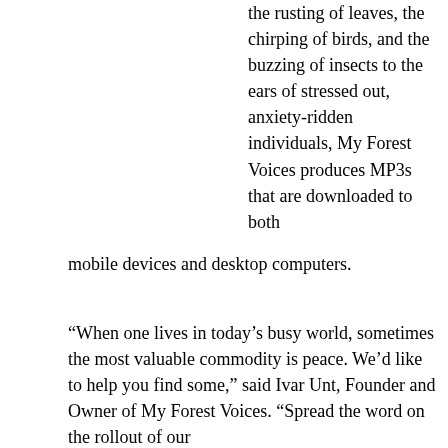the rusting of leaves, the chirping of birds, and the buzzing of insects to the ears of stressed out, anxiety-ridden individuals, My Forest Voices produces MP3s that are downloaded to both mobile devices and desktop computers.
“When one lives in today’s busy world, sometimes the most valuable commodity is peace. We’d like to help you find some,” said Ivar Unt, Founder and Owner of My Forest Voices. “Spread the word on the rollout of our platform, and head on over today to get serious about natural relaxation.”
For more information, visit: myforestvoices.com
About My Forest Voices
They are there to help you de-stress. They produce mp3s